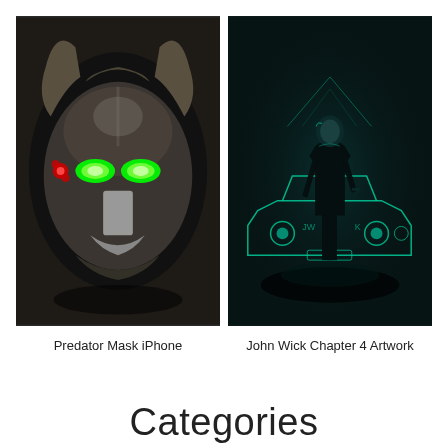[Figure (photo): Predator alien mask with glowing green eyes on dark background]
[Figure (illustration): John Wick Chapter 4 artwork showing silhouette of man in suit holding gun in front of neon-outlined car]
Predator Mask iPhone
John Wick Chapter 4 Artwork
Categories